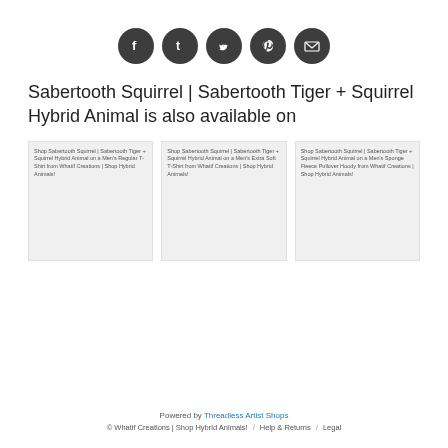[Figure (other): Row of 5 social media share icons (Facebook, Tumblr, Twitter, Pinterest, Email) as dark circular buttons]
Sabertooth Squirrel | Sabertooth Tiger + Squirrel Hybrid Animal is also available on
[Figure (other): Product card thumbnail: Shop Sabertooth Squirrel | Sabertooth Tiger + Squirrel Hybrid Animal on a Men's Regular T-Shirt from Whatif Creations | Shop Hybrid Animals!]
[Figure (other): Product card thumbnail: Shop Sabertooth Squirrel | Sabertooth Tiger + Squirrel Hybrid Animal on a Men's Extra Soft T-Shirt from Whatif Creations | Shop Hybrid Animals!]
[Figure (other): Product card thumbnail: Shop Sabertooth Squirrel | Sabertooth Tiger + Squirrel Hybrid Animal on a Men's Sponge Fleece Pullover Hoody from Whatif Creations | Shop Hybrid Animals!]
Powered by Threadless Artist Shops
© Whatif Creations | Shop Hybrid Animals! / Help & Returns / Legal